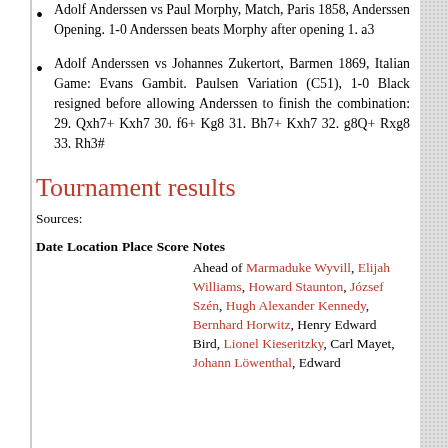Adolf Anderssen vs Paul Morphy, Match, Paris 1858, Anderssen Opening. 1-0 Anderssen beats Morphy after opening 1. a3
Adolf Anderssen vs Johannes Zukertort, Barmen 1869, Italian Game: Evans Gambit. Paulsen Variation (C51), 1-0 Black resigned before allowing Anderssen to finish the combination: 29. Qxh7+ Kxh7 30. f6+ Kg8 31. Bh7+ Kxh7 32. g8Q+ Rxg8 33. Rh3#
Tournament results
Sources:
| Date | Location | Place | Score | Notes |
| --- | --- | --- | --- | --- |
|  |  |  |  | Ahead of Marmaduke Wyvill, Elijah Williams, Howard Staunton, József Szén, Hugh Alexander Kennedy, Bernhard Horwitz, Henry Edward Bird, Lionel Kieseritzky, Carl Mayet, Johann Löwenthal, Edward… |